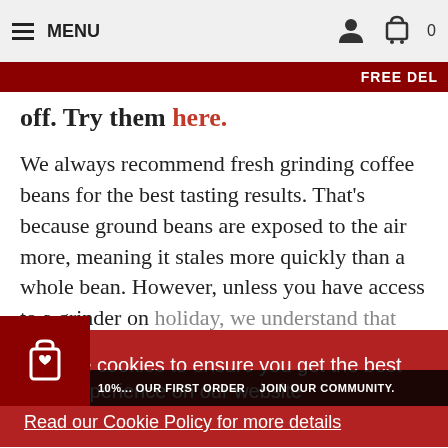MENU
FREE DEL
off. Try them here.
We always recommend fresh grinding coffee beans for the best tasting results. That’s because ground beans are exposed to the air more, meaning it stales more quickly than a whole bean. However, unless you have access to a grinder on holiday, we understand that taking pre-ground coffee is convenient. Our 250g bags are designed to last less than a week, which ensures the coffee is fresh when brewed.
We use cookies to ensure you get the best user experience on our website
Read our Cookie Policy for more details
Ok, thanks
10%... OUR FIRST ORDER ... JOIN OUR COMMUNITY. JOIN HERE.